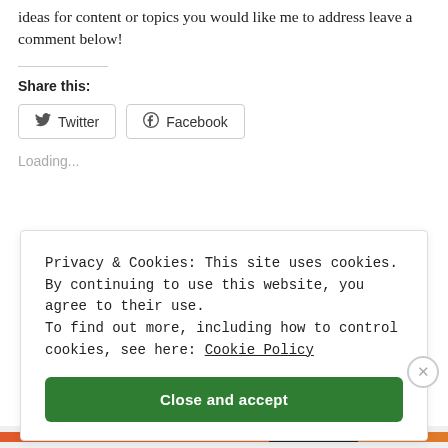ideas for content or topics you would like me to address leave a comment below!
Share this:
Twitter  Facebook
Loading...
Privacy & Cookies: This site uses cookies. By continuing to use this website, you agree to their use. To find out more, including how to control cookies, see here: Cookie Policy
Close and accept